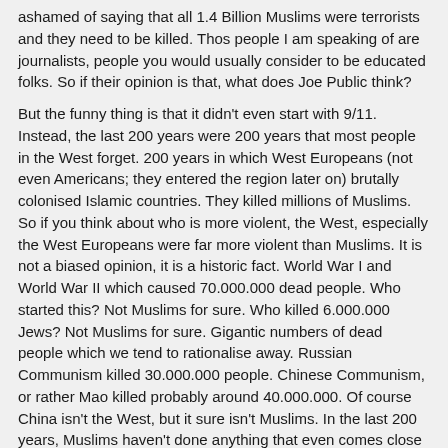ashamed of saying that all 1.4 Billion Muslims were terrorists and they need to be killed. Thos people I am speaking of are journalists, people you would usually consider to be educated folks. So if their opinion is that, what does Joe Public think?
But the funny thing is that it didn't even start with 9/11. Instead, the last 200 years were 200 years that most people in the West forget. 200 years in which West Europeans (not even Americans; they entered the region later on) brutally colonised Islamic countries. They killed millions of Muslims. So if you think about who is more violent, the West, especially the West Europeans were far more violent than Muslims. It is not a biased opinion, it is a historic fact. World War I and World War II which caused 70.000.000 dead people. Who started this? Not Muslims for sure. Who killed 6.000.000 Jews? Not Muslims for sure. Gigantic numbers of dead people which we tend to rationalise away. Russian Communism killed 30.000.000 people. Chinese Communism, or rather Mao killed probably around 40.000.000. Of course China isn't the West, but it sure isn't Muslims. In the last 200 years, Muslims haven't done anything that even comes close to what I just pointed out. As Jean-Paul Sartre, the famous French philosopher, said that Arabs were treated like half apes. Muslims were dismissed and not taken seriously. They were treated like animals, literally smoked out (as George Bush used to say so often). Hunted like jackals for example during the French colonisation.
Terrorism begins with injustice. That's why terrorism can only be fought by